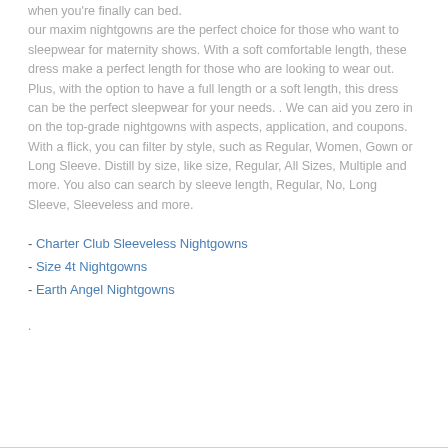when you're finally can bed. our maxim nightgowns are the perfect choice for those who want to sleepwear for maternity shows. With a soft comfortable length, these dress make a perfect length for those who are looking to wear out. Plus, with the option to have a full length or a soft length, this dress can be the perfect sleepwear for your needs. . We can aid you zero in on the top-grade nightgowns with aspects, application, and coupons. With a flick, you can filter by style, such as Regular, Women, Gown or Long Sleeve. Distill by size, like size, Regular, All Sizes, Multiple and more. You also can search by sleeve length, Regular, No, Long Sleeve, Sleeveless and more.
- Charter Club Sleeveless Nightgowns
- Size 4t Nightgowns
- Earth Angel Nightgowns
.